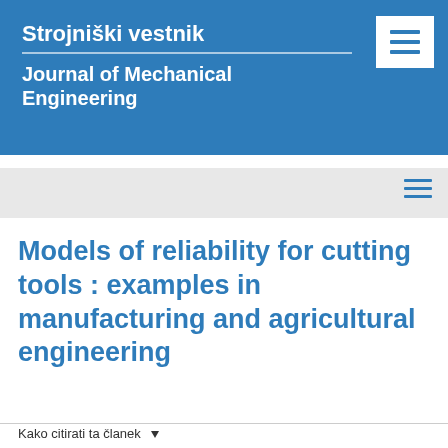Strojniški vestnik
Journal of Mechanical Engineering
Models of reliability for cutting tools : examples in manufacturing and agricultural engineering
Kako citirati ta članek ▾